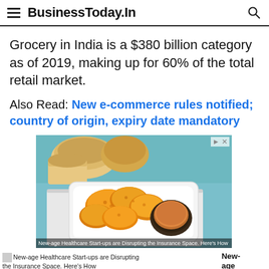BusinessToday.In
Grocery in India is a $380 billion category as of 2019, making up for 60% of the total retail market.
Also Read: New e-commerce rules notified; country of origin, expiry date mandatory
[Figure (photo): Advertisement image showing fried chicken pieces with dipping sauce on a plate, with bread rolls in background, on a teal/turquoise surface]
New-age Healthcare Start-ups are Disrupting the Insurance Space. Here's How
New-age H...
MOST READ